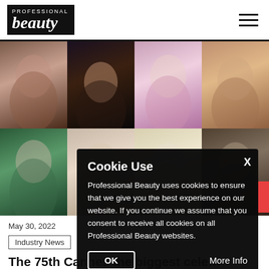Professional Beauty
[Figure (photo): Grid of 8 celebrity photos from Cannes 2022, two rows of four photos each showing women with various hairstyles and makeup looks.]
May 30, 2022
Industry News
The 75th Cannes the biggest cele...
Cookie Use
Professional Beauty uses cookies to ensure that we give you the best experience on our website. If you continue we assume that you consent to receive all cookies on all Professional Beauty websites.
OK    More Info